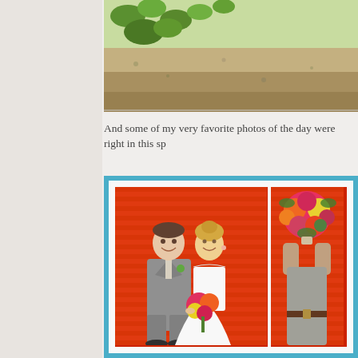[Figure (photo): Top portion of a photo showing green foliage and sandy/gravelly ground]
And some of my very favorite photos of the day were right in this sp
[Figure (photo): Two wedding photos side by side in a teal/blue frame with white mat: left photo shows bride and groom standing in front of bright orange corrugated metal wall, groom in gray suit, bride in white strapless gown holding colorful bouquet; right photo shows a person holding a large colorful bouquet in front of the same orange wall]